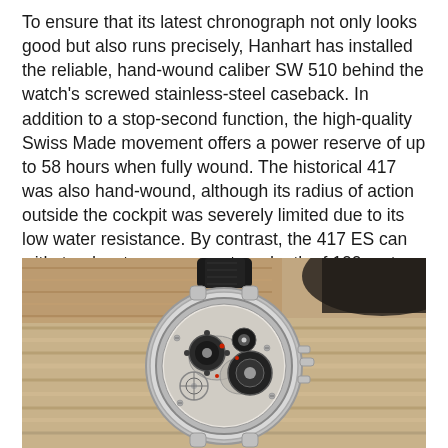To ensure that its latest chronograph not only looks good but also runs precisely, Hanhart has installed the reliable, hand-wound caliber SW 510 behind the watch's screwed stainless-steel caseback. In addition to a stop-second function, the high-quality Swiss Made movement offers a power reserve of up to 58 hours when fully wound. The historical 417 was also hand-wound, although its radius of action outside the cockpit was severely limited due to its low water resistance. By contrast, the 417 ES can withstand water pressures to a depth of 100 meters (10 bar).
[Figure (photo): Close-up photograph of a Hanhart 417 ES chronograph watch with its caseback open revealing the hand-wound SW 510 movement, resting on a coiled rope with a dark leather strap visible. The watch mechanism with gears and components is clearly visible through the transparent caseback.]